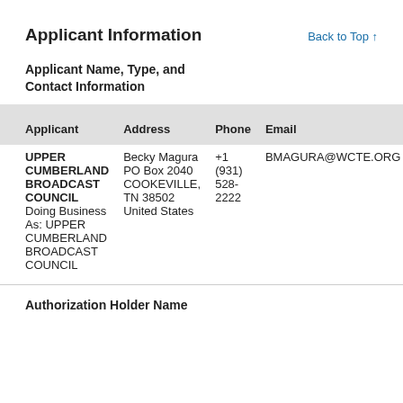Applicant Information
Back to Top ↑
Applicant Name, Type, and Contact Information
| Applicant | Address | Phone | Email |
| --- | --- | --- | --- |
| UPPER CUMBERLAND BROADCAST COUNCIL
Doing Business As: UPPER CUMBERLAND BROADCAST COUNCIL | Becky Magura
PO Box 2040
COOKEVILLE, TN 38502
United States | +1 (931) 528-2222 | BMAGURA@WCTE.ORG |
Authorization Holder Name